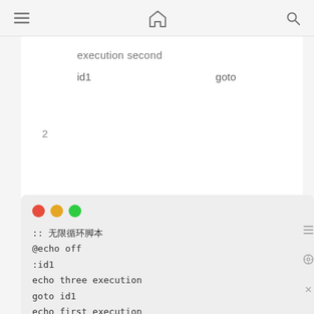≡    🏠    🔍
|  | execution second |
| --- | --- |
| id1 | goto |
| 2 |  |
[Figure (screenshot): Code editor terminal window with traffic light buttons (red, yellow, green) showing batch script code]
:: 无限循环脚本
@echo off
:id1
echo three execution
goto id1
echo first execution

:id1
echo second execution
pause
exit